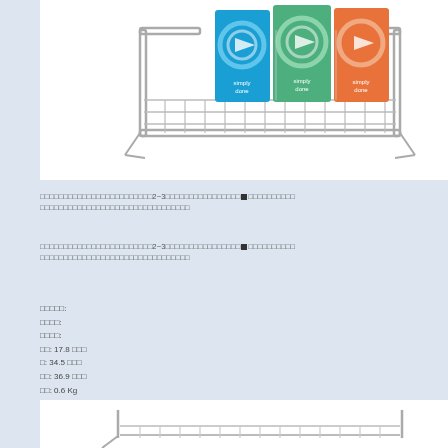[Figure (photo): A wire metal basket/organizer (chrome finish) containing colorful product boxes with 'simply done' branding in blue and teal colors]
□□□□□□□□□□□□□□□□□□□□□□□□2~3□□□□□□□□□□□□□□□□■□□□□□□□□□□□□□□□□□□□□□□□□□□□□□□□□□□
□□□□□□□□□□□□□□□□□□□□□□□□2~3□□□□□□□□□□□□□□□□■□□□□□□□□□□□□□□□□□□□□□□□□□□□□□□□□□□
□□□□□:
□□□□:
□□□□:
□□: 17.8 □□□
□: 34.5 □□□
□□: 36.9 □□□
□□: 0.6 Kg
[Figure (photo): Bottom portion of another wire metal basket/organizer (chrome finish), partially visible]